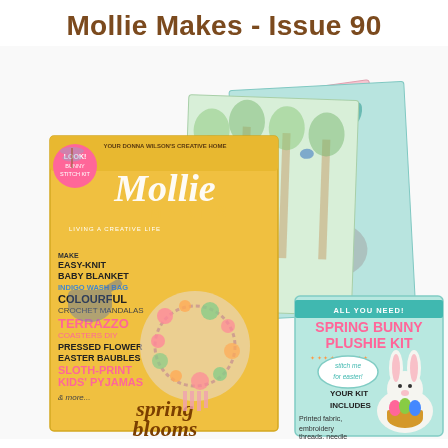Mollie Makes - Issue 90
[Figure (photo): Product photo of Mollie Makes Issue 90 magazine with spring bunny plushie kit and colorful fabric pattern inserts. Magazine cover shows a floral wreath and text: EASY-KNIT BABY BLANKET, INDIGO WASH BAG, COLOURFUL CROCHET MANDALAS, TERRAZZO COASTERS DIY, PRESSED FLOWER EASTER BAUBLES, SLOTH-PRINT KIDS PYJAMAS. Spring Bunny Plushie Kit packaging shows a bunny with Easter basket. Multiple patterned fabric inserts with birds, bears, flowers, and botanical illustrations visible.]